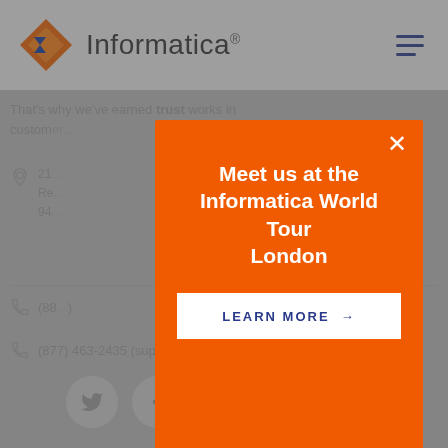Informatica
That's why we've earned trust works in custom...
21...
Re...
94...
(88...) [phone number]
(877) 463-2435 (support)
[Figure (screenshot): Orange modal popup overlay on greyed-out Informatica website. Modal shows text 'Meet us at the Informatica World Tour London' with a 'LEARN MORE →' button. Background shows partial address and phone numbers. Social media icons (Twitter, Facebook, LinkedIn, YouTube, Instagram) appear at the bottom.]
Meet us at the Informatica World Tour London
LEARN MORE →